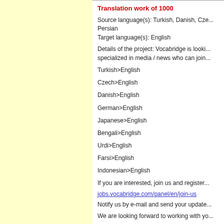Translation work of 1000
Source language(s): Turkish, Danish, Czech, Persian
Target language(s): English
Details of the project: Vocabridge is looking for translators specialized in media / news who can join...
Turkish>English
Czech>English
Danish>English
German>English
Japanese>English
Bengali>English
Urdi>English
Farsi>English
Indonesian>English
If you are interested, join us and register...
jobs.vocabridge.com/panel/en/join-us
Notify us by e-mail and send your updated...
We are looking forward to working with you...
Thanks,